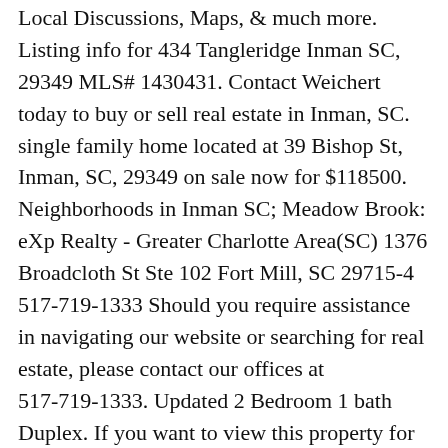Local Discussions, Maps, & much more. Listing info for 434 Tangleridge Inman SC, 29349 MLS# 1430431. Contact Weichert today to buy or sell real estate in Inman, SC. single family home located at 39 Bishop St, Inman, SC, 29349 on sale now for $118500. Neighborhoods in Inman SC; Meadow Brook: eXp Realty - Greater Charlotte Area(SC) 1376 Broadcloth St Ste 102 Fort Mill, SC 29715-4 517-719-1333 Should you require assistance in navigating our website or searching for real estate, please contact our offices at 517-719-1333. Updated 2 Bedroom 1 bath Duplex. If you want to view this property for sale or have question contact us at 843.478.8061. Johnson Place. There are 3 active new home builders and communities in Inman, South Carolina, which spend an average of 67 days on the market. Movoto gives you access to the most up-to-